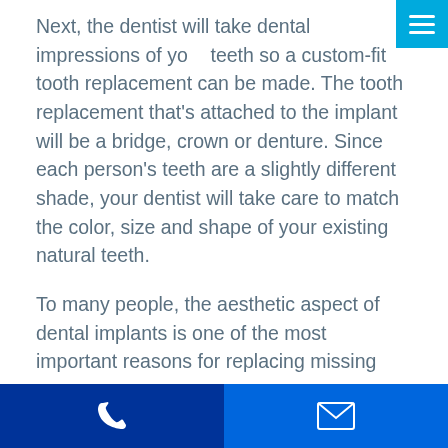Next, the dentist will take dental impressions of your teeth so a custom-fit tooth replacement can be made. The tooth replacement that's attached to the implant will be a bridge, crown or denture. Since each person's teeth are a slightly different shade, your dentist will take care to match the color, size and shape of your existing natural teeth.
To many people, the aesthetic aspect of dental implants is one of the most important reasons for replacing missing teeth. Every characteristic from the material the tooth replacement is made of to the lab tech making the crown will impact how natural the dental implant appears.
When cared for properly, dental implants can last a lifetime. Keep in mind that you'll need to practice excellent oral hygiene and care for your implant just
Phone icon | Email icon